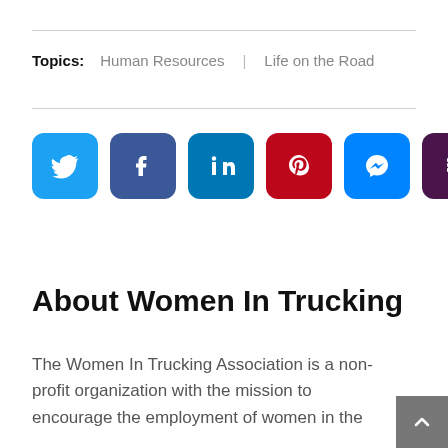Topics:  Human Resources  |  Life on the Road
[Figure (infographic): Row of six social media share buttons: Twitter (blue), Facebook (dark blue), LinkedIn (blue), Pinterest (red), Messenger (blue), Slack (purple)]
About Women In Trucking
The Women In Trucking Association is a non-profit organization with the mission to encourage the employment of women in the